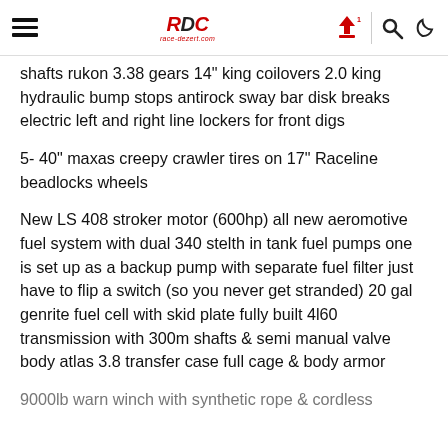race-dezert.com navigation header
shafts rukon 3.38 gears 14" king coilovers 2.0 king hydraulic bump stops antirock sway bar disk breaks electric left and right line lockers for front digs
5- 40" maxas creepy crawler tires on 17" Raceline beadlocks wheels
New LS 408 stroker motor (600hp) all new aeromotive fuel system with dual 340 stelth in tank fuel pumps one is set up as a backup pump with separate fuel filter just have to flip a switch (so you never get stranded) 20 gal genrite fuel cell with skid plate fully built 4l60 transmission with 300m shafts & semi manual valve body atlas 3.8 transfer case full cage & body armor
9000lb warn winch with synthetic rope & cordless